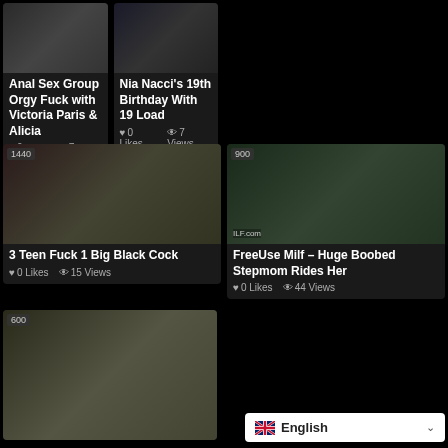[Figure (screenshot): Video thumbnail for Anal Sex Group Orgy Fuck with Victoria Paris & Alicia]
Anal Sex Group Orgy Fuck with Victoria Paris & Alicia
0 Likes  7 Views
[Figure (screenshot): Video thumbnail for Nia Nacci's 19th Birthday With 19 Load]
Nia Nacci's 19th Birthday With 19 Load
0 Likes  7 Views
[Figure (screenshot): Video thumbnail 1440p for 3 Teen Fuck 1 Big Black Cock]
3 Teen Fuck 1 Big Black Cock
0 Likes  15 Views
[Figure (screenshot): Video thumbnail 900p for FreeUse Milf – Huge Boobed Stepmom Rides Her]
FreeUse Milf – Huge Boobed Stepmom Rides Her
0 Likes  44 Views
[Figure (screenshot): Video thumbnail 600p, partial view of a woman's face]
English